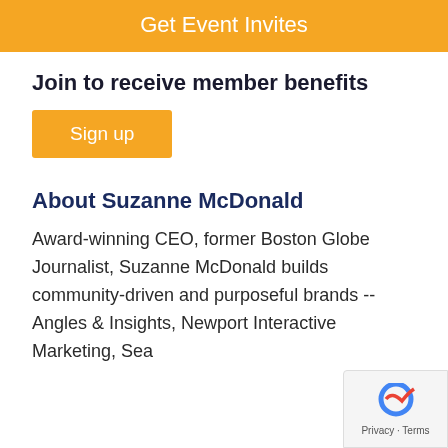Get Event Invites
Join to receive member benefits
Sign up
About Suzanne McDonald
Award-winning CEO, former Boston Globe Journalist, Suzanne McDonald builds community-driven and purposeful brands -- Angles & Insights, Newport Interactive Marketing, Sea